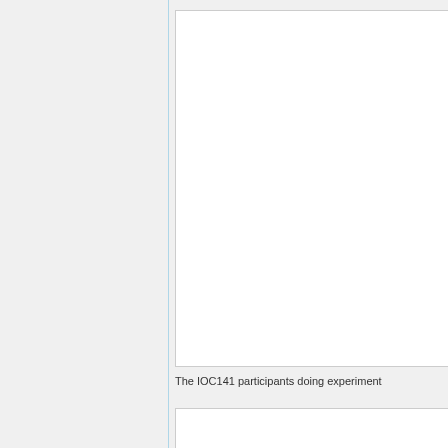[Figure (photo): A mostly blank/white image box representing a photo of IOC141 participants doing experiments]
The IOC141 participants doing experiment
[Figure (photo): A second image box, partially visible at the bottom of the page]